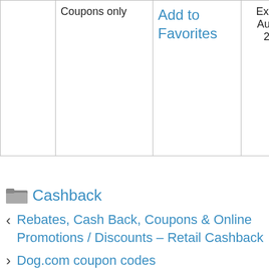|  | Add to Favorites |  | Expires: Aug 31, 2016 |
| Coupons only |  |  |  |
Cashback
Rebates, Cash Back, Coupons & Online Promotions / Discounts – Retail Cashback
Dog.com coupon codes